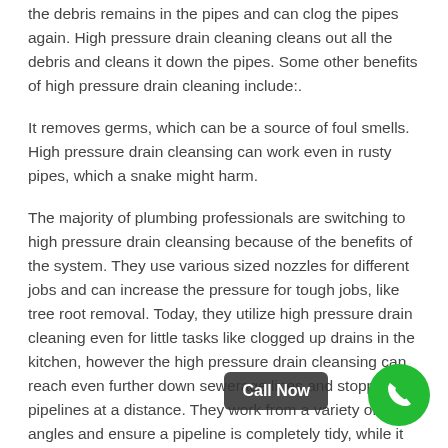the debris remains in the pipes and can clog the pipes again. High pressure drain cleaning cleans out all the debris and cleans it down the pipes. Some other benefits of high pressure drain cleaning include:.
It removes germs, which can be a source of foul smells. High pressure drain cleansing can work even in rusty pipes, which a snake might harm.
The majority of plumbing professionals are switching to high pressure drain cleansing because of the benefits of the system. They use various sized nozzles for different jobs and can increase the pressure for tough jobs, like tree root removal. Today, they utilize high pressure drain cleaning even for little tasks like clogged up drains in the kitchen, however the high pressure drain cleansing can reach even further down sewerage lines and stopped up pipelines at a distance. They work from a variety of angles and ensure a pipeline is completely tidy, while it also washes any particles away so it will not be a problem later